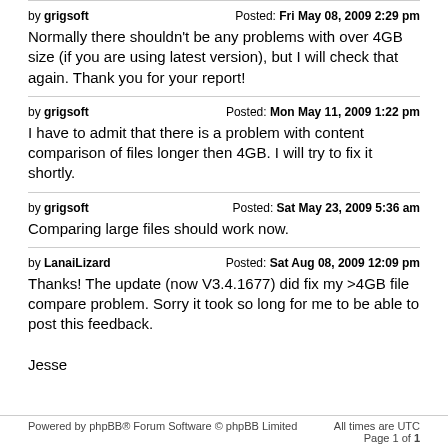by grigsoft   Posted: Fri May 08, 2009 2:29 pm
Normally there shouldn't be any problems with over 4GB size (if you are using latest version), but I will check that again. Thank you for your report!
by grigsoft   Posted: Mon May 11, 2009 1:22 pm
I have to admit that there is a problem with content comparison of files longer then 4GB. I will try to fix it shortly.
by grigsoft   Posted: Sat May 23, 2009 5:36 am
Comparing large files should work now.
by LanaiLizard   Posted: Sat Aug 08, 2009 12:09 pm
Thanks! The update (now V3.4.1677) did fix my >4GB file compare problem. Sorry it took so long for me to be able to post this feedback.

Jesse
Powered by phpBB® Forum Software © phpBB Limited   All times are UTC  Page 1 of 1